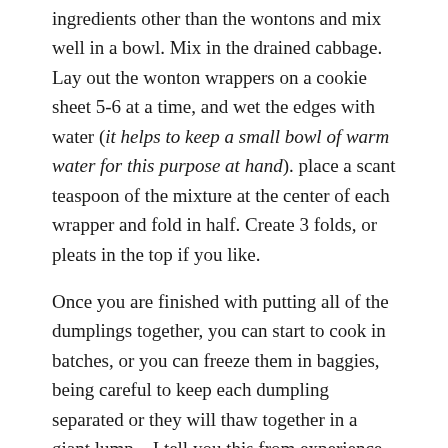ingredients other than the wontons and mix well in a bowl. Mix in the drained cabbage. Lay out the wonton wrappers on a cookie sheet 5-6 at a time, and wet the edges with water (it helps to keep a small bowl of warm water for this purpose at hand). place a scant teaspoon of the mixture at the center of each wrapper and fold in half. Create 3 folds, or pleats in the top if you like.
Once you are finished with putting all of the dumplings together, you can start to cook in batches, or you can freeze them in baggies, being careful to keep each dumpling separated or they will thaw together in a giant lump – I tell you this from experience, not the cookbook.
To cook, coat a nonstick pan or wok in oil, and fry on medium heat for 2 minutes per side, then add 1/2 cup of